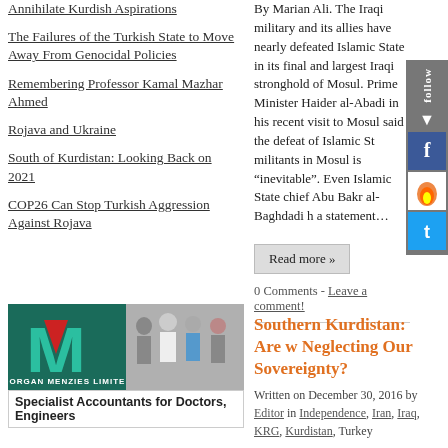Annihilate Kurdish Aspirations
The Failures of the Turkish State to Move Away From Genocidal Policies
Remembering Professor Kamal Mazhar Ahmed
Rojava and Ukraine
South of Kurdistan: Looking Back on 2021
COP26 Can Stop Turkish Aggression Against Rojava
By Marian Ali. The Iraqi military and its allies have nearly defeated Islamic State in its final and largest Iraqi stronghold of Mosul. Prime Minister Haider al-Abadi in his recent visit to Mosul said the defeat of Islamic State militants in Mosul is “inevitable”. Even Islamic State chief Abu Bakr al-Baghdadi has issued a statement…
Read more »
0 Comments - Leave a comment!
[Figure (logo): Morgan Menzies Limited logo with teal M and red triangle, group of professional people]
Specialist Accountants for Doctors, Engineers
Southern Kurdistan: Are we Neglecting Our Sovereignty?
Written on December 30, 2016 by Editor in Independence, Iran, Iraq, KRG, Kurdistan, Turkey